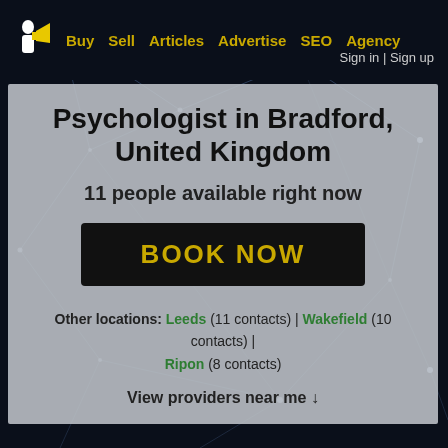Buy  Sell  Articles  Advertise  SEO  Agency  Sign in | Sign up
Psychologist in Bradford, United Kingdom
11 people available right now
BOOK NOW
Other locations: Leeds (11 contacts) | Wakefield (10 contacts) | Ripon (8 contacts)
View providers near me ↓